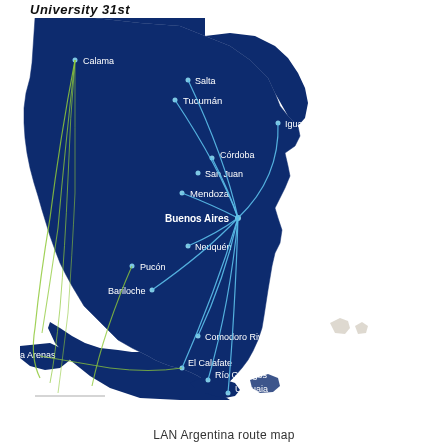University 31st
[Figure (map): LAN Argentina route map showing airline routes across Argentina and neighboring areas. The map shows a dark navy blue topographic rendering of Argentina and surrounding region. Blue and green curved lines connect Buenos Aires hub to cities including Calama, Salta, Tucumán, Iguazú, Córdoba, San Juan, Mendoza, Neuquén, Pucón, Bariloche, Comodoro Rivadavia, El Calafate, Río Gallegos, Ushuaia, and Punta Arenas. City names are labeled in white text on the dark map background.]
LAN Argentina route map